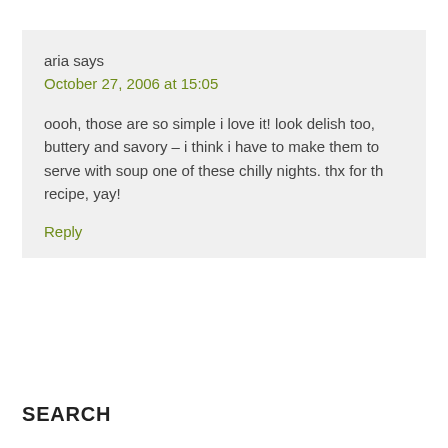aria says
October 27, 2006 at 15:05

oooh, those are so simple i love it! look delish too, buttery and savory – i think i have to make them to serve with soup one of these chilly nights. thx for th recipe, yay!

Reply
SEARCH